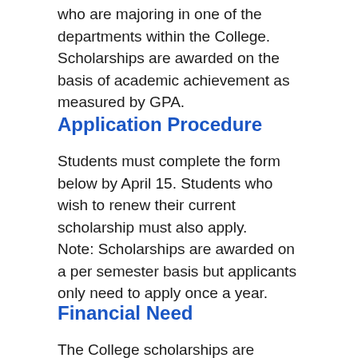who are majoring in one of the departments within the College. Scholarships are awarded on the basis of academic achievement as measured by GPA.
Application Procedure
Students must complete the form below by April 15. Students who wish to renew their current scholarship must also apply.
Note: Scholarships are awarded on a per semester basis but applicants only need to apply once a year.
Financial Need
The College scholarships are awarded on the basis of